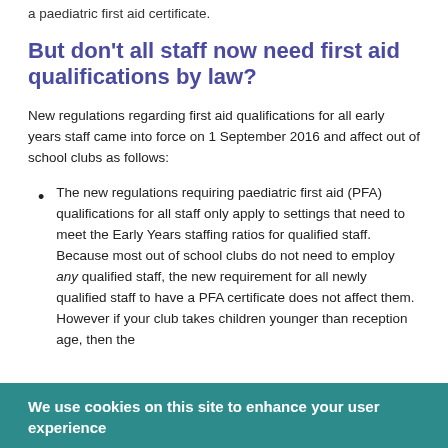a paediatric first aid certificate.
But don't all staff now need first aid qualifications by law?
New regulations regarding first aid qualifications for all early years staff came into force on 1 September 2016 and affect out of school clubs as follows:
The new regulations requiring paediatric first aid (PFA) qualifications for all staff only apply to settings that need to meet the Early Years staffing ratios for qualified staff. Because most out of school clubs do not need to employ any qualified staff, the new requirement for all newly qualified staff to have a PFA certificate does not affect them. However if your club takes children younger than reception age, then the
We use cookies on this site to enhance your user experience